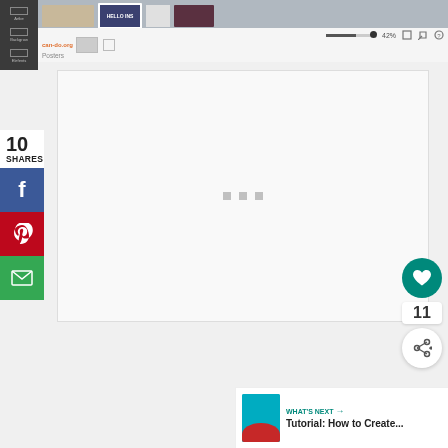[Figure (screenshot): Web application toolbar with left sidebar icons, thumbnail strip of design templates, and zoom controls showing 42%]
10
SHARES
[Figure (screenshot): Facebook share button (blue) with f icon]
[Figure (screenshot): Pinterest share button (red) with P icon]
[Figure (screenshot): Email share button (green) with envelope icon]
[Figure (screenshot): Main white canvas area with three gray loading squares centered]
[Figure (screenshot): Green heart/like button showing count of 11 and share icon button]
11
WHAT'S NEXT →
Tutorial: How to Create...